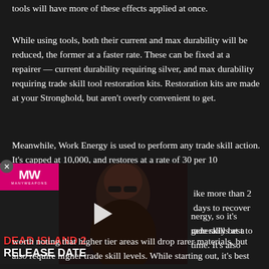tools will have more of these effects applied at once.
While using tools, both their current and max durability will be reduced, the former at a faster rate. These can be fixed at a repairer — current durability requiring silver, and max durability requiring trade skill tool restoration kits. Restoration kits are made at your Stronghold, but aren't overly convenient to get.
Meanwhile, Work Energy is used to perform any trade skill action. It's capped at 10,000, and restores at a rate of 30 per 10 [minutes, meaning it would take more than 2 days to recover fully from 0.]
[Figure (other): Video advertisement overlay for 'Dead Island 2 Release Date' from ManyWaves (MW) media. Contains a pink/magenta MW logo bar, a dark background with a person wearing sunglasses, a white play button triangle, and red and white bold text reading 'DEAD ISLAND 2 RELEASE DATE'. A close button circle appears at the top-left.]
[...] energy, so it's generally best to [...] trade skills at a time. It's also worth noting that higher tier areas will drop rarer materials, but also require higher trade skill levels. While starting out, it's best